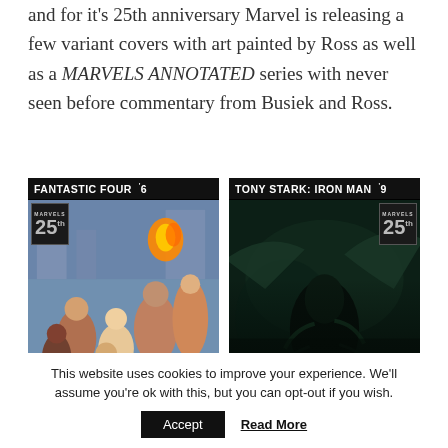and for it's 25th anniversary Marvel is releasing a few variant covers with art painted by Ross as well as a MARVELS ANNOTATED series with never seen before commentary from Busiek and Ross.
[Figure (illustration): Two comic book variant covers side by side. Left: Fantastic Four #6 with Marvels 25th anniversary badge, showing a crowd scene with warm colors and a figure with flame. Right: Tony Stark: Iron Man #9 with Marvels 25th anniversary badge, showing dark green/blue scene with shadowy figures.]
This website uses cookies to improve your experience. We'll assume you're ok with this, but you can opt-out if you wish.